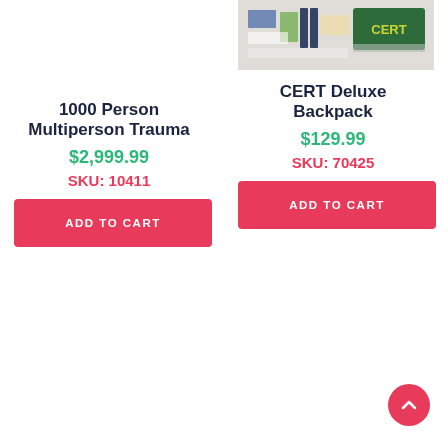[Figure (photo): Photo of CERT Deluxe Backpack kit with supplies and green CERT vest/vest laid out on white surface]
1000 Person Multiperson Trauma
$2,999.99
SKU: 10411
ADD TO CART
CERT Deluxe Backpack
$129.99
SKU: 70425
ADD TO CART